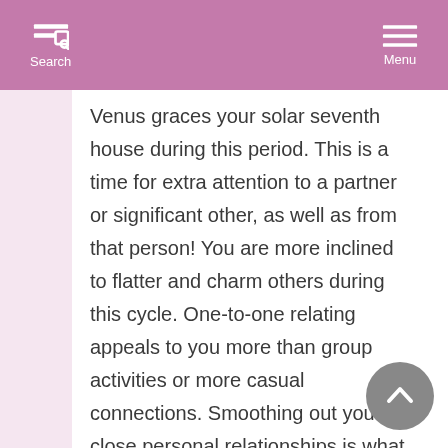Search  Menu
Venus graces your solar seventh house during this period. This is a time for extra attention to a partner or significant other, as well as from that person! You are more inclined to flatter and charm others during this cycle. One-to-one relating appeals to you more than group activities or more casual connections. Smoothing out your close personal relationships is what makes you happy during this cycle. If single, you are more willing than normal to enter into a committed relationship. In general, you are adaptable when it comes to your affections--very willing to